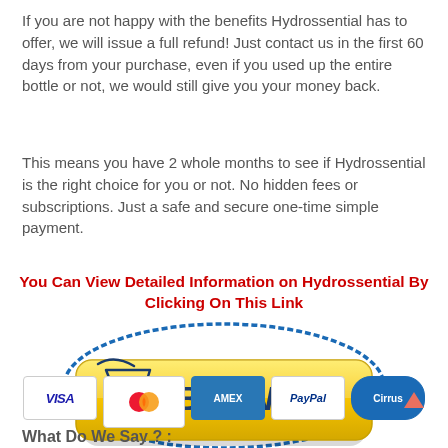If you are not happy with the benefits Hydrossential has to offer, we will issue a full refund! Just contact us in the first 60 days from your purchase, even if you used up the entire bottle or not, we would still give you your money back.
This means you have 2 whole months to see if Hydrossential is the right choice for you or not. No hidden fees or subscriptions. Just a safe and secure one-time simple payment.
You Can View Detailed Information on Hydrossential By Clicking On This Link
[Figure (other): Yellow 'Buy Now!' button with shopping cart icon, surrounded by a blue oval ring]
[Figure (other): Payment method icons: VISA, Mastercard, AMEX, PayPal, Cirrus]
What Do We Say ? :